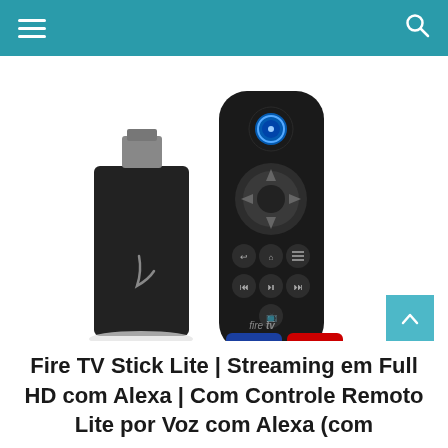[Figure (photo): Amazon Fire TV Stick Lite product photo showing the black HDMI streaming stick alongside the Alexa Voice Remote Lite. The remote has a circular navigation pad, Alexa button at top, back/home/menu buttons, media control buttons, a TV button, and shortcut buttons for Prime Video, Netflix, Disney+, and Amazon Music. The remote has 'fire tv' branding at the bottom.]
Fire TV Stick Lite | Streaming em Full HD com Alexa | Com Controle Remoto Lite por Voz com Alexa (com